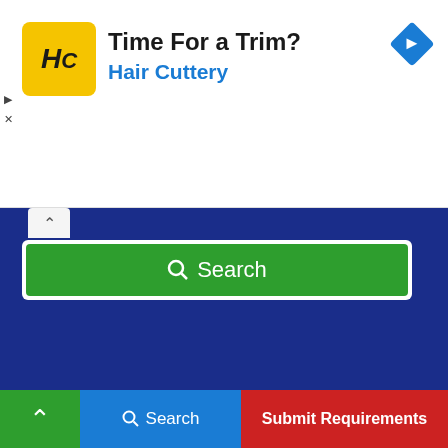[Figure (screenshot): Hair Cuttery advertisement banner with HC logo, 'Time For a Trim?' headline, 'Hair Cuttery' subtitle in blue, and a navigation arrow icon]
[Figure (screenshot): Blue search panel with green search button labeled 'Search' and a collapse chevron button]
Latest prices of Arhar Dal(Tur Dal), Banana - Green, Bengal Gram Dal (Chana Dal), Bhindi(Ladies Finger) and 10 other commodities in Pratapgarh
[Figure (screenshot): Bottom navigation bar with green up-arrow button, blue Search button, and red Submit Requirements button]